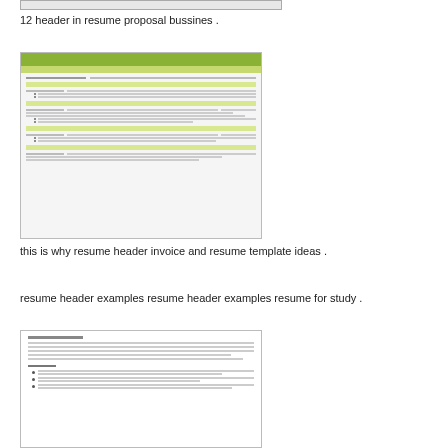[Figure (screenshot): Partial view of a resume document shown as a thin horizontal image strip at top]
12 header in resume proposal bussines .
[Figure (screenshot): Screenshot of a resume document with a green header bar showing name/contact, and sections for work experience with bullet points]
this is why resume header invoice and resume template ideas .
resume header examples resume header examples resume for study .
[Figure (screenshot): Screenshot of a resume document showing a summary paragraph and bullet point achievements section]